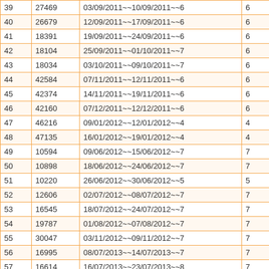| 39 | 27469 | 03/09/2011~~10/09/2011~~6 | 6 |
| 40 | 26679 | 12/09/2011~~17/09/2011~~6 | 6 |
| 41 | 18391 | 19/09/2011~~24/09/2011~~6 | 6 |
| 42 | 18104 | 25/09/2011~~01/10/2011~~7 | 6 |
| 43 | 18034 | 03/10/2011~~09/10/2011~~7 | 6 |
| 44 | 42584 | 07/11/2011~~12/11/2011~~6 | 6 |
| 45 | 42374 | 14/11/2011~~19/11/2011~~6 | 6 |
| 46 | 42160 | 07/12/2011~~12/12/2011~~6 | 6 |
| 47 | 46216 | 09/01/2012~~12/01/2012~~4 | 4 |
| 48 | 47135 | 16/01/2012~~19/01/2012~~4 | 4 |
| 49 | 10594 | 09/06/2012~~15/06/2012~~7 | 7 |
| 50 | 10898 | 18/06/2012~~24/06/2012~~7 | 7 |
| 51 | 10220 | 26/06/2012~~30/06/2012~~5 | 5 |
| 52 | 12606 | 02/07/2012~~08/07/2012~~7 | 7 |
| 53 | 16545 | 18/07/2012~~24/07/2012~~7 | 7 |
| 54 | 19787 | 01/08/2012~~07/08/2012~~7 | 7 |
| 55 | 30047 | 03/11/2012~~09/11/2012~~7 | 7 |
| 56 | 16995 | 08/07/2013~~14/07/2013~~7 | 7 |
| 57 | 16614 | 16/07/2013~~23/07/2013~~8 | 7 |
| 58 | 88358 | 08/01/2014~~14/01/2014~~7 | 7 |
| 59 | 89338 | 16/01/2014~~22/01/2014~~7 | 7 |
| 60 | 89104 | 24/01/2014~~30/01/2014~~7 | 7 |
| 61 | 10081 | 05/08/2014~~23/08/2014~~19 | 17 |
| 62 | 67311 | 04/10/2017~~19/10/2017~~16 | 14 |
| 63 | 121964 | 20/11/2018~~05/12/2018~~16 | 14 |
| 64 | 128591 | 14/12/2018~~30/12/2018~~16 | 14 |